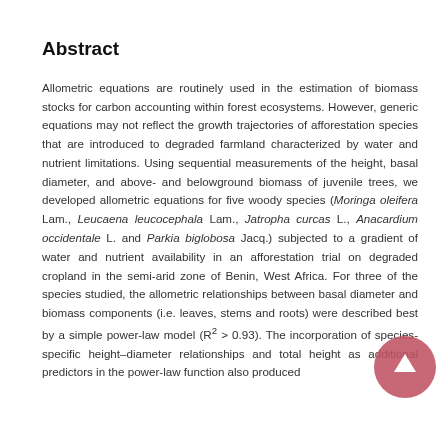Abstract
Allometric equations are routinely used in the estimation of biomass stocks for carbon accounting within forest ecosystems. However, generic equations may not reflect the growth trajectories of afforestation species that are introduced to degraded farmland characterized by water and nutrient limitations. Using sequential measurements of the height, basal diameter, and above- and belowground biomass of juvenile trees, we developed allometric equations for five woody species (Moringa oleifera Lam., Leucaena leucocephala Lam., Jatropha curcas L., Anacardium occidentale L. and Parkia biglobosa Jacq.) subjected to a gradient of water and nutrient availability in an afforestation trial on degraded cropland in the semi-arid zone of Benin, West Africa. For three of the species studied, the allometric relationships between basal diameter and biomass components (i.e. leaves, stems and roots) were described best by a simple power-law model (R² > 0.93). The incorporation of species-specific height–diameter relationships and total height as additional predictors in the power-law function also produced